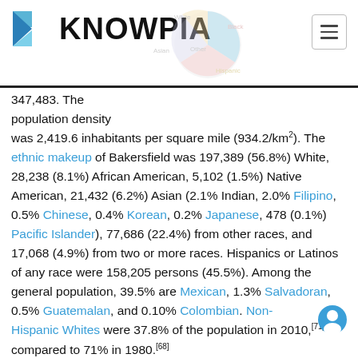KNOWPIA
347,483. The population density was 2,419.6 inhabitants per square mile (934.2/km²). The ethnic makeup of Bakersfield was 197,389 (56.8%) White, 28,238 (8.1%) African American, 5,102 (1.5%) Native American, 21,432 (6.2%) Asian (2.1% Indian, 2.0% Filipino, 0.5% Chinese, 0.4% Korean, 0.2% Japanese, 478 (0.1%) Pacific Islander), 77,686 (22.4%) from other races, and 17,068 (4.9%) from two or more races. Hispanics or Latinos of any race were 158,205 persons (45.5%). Among the general population, 39.5% are Mexican, 1.3% Salvadoran, 0.5% Guatemalan, and 0.10% Colombian. Non-Hispanic Whites were 37.8% of the population in 2010,[71] compared to 71% in 1980.[68]